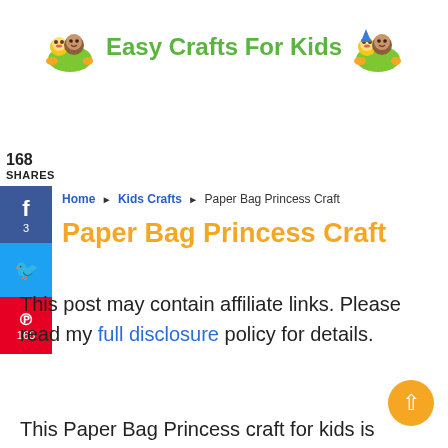Easy Crafts For Kids
168 SHARES
Home › Kids Crafts › Paper Bag Princess Craft
Paper Bag Princess Craft
This post may contain affiliate links. Please read my full disclosure policy for details.
This Paper Bag Princess craft for kids is